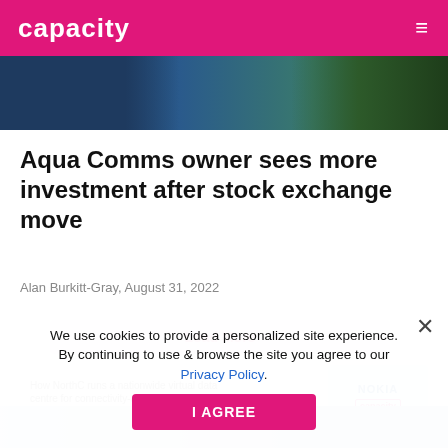capacity
[Figure (photo): Partial hero image showing dark blue and green tones, appears to be a building or infrastructure photo]
Aqua Comms owner sees more investment after stock exchange move
Alan Burkitt-Gray, August 31, 2022
We use cookies to provide a personalized site experience. By continuing to use & browse the site you agree to our Privacy Policy.
I AGREE